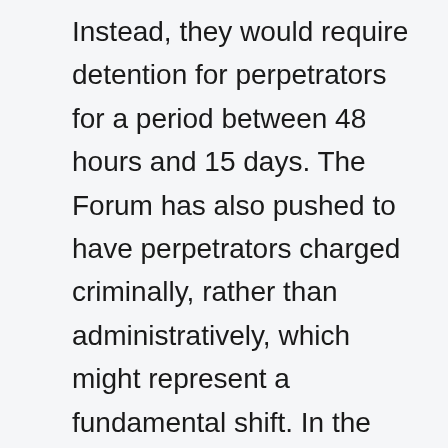Instead, they would require detention for perpetrators for a period between 48 hours and 15 days. The Forum has also pushed to have perpetrators charged criminally, rather than administratively, which might represent a fundamental shift. In the wake of the deadly violence across the new year, members of the Forum held a gathering that drew more than 100 members of the local community, together with men and women, civil society organizations, and local elected officials. The MPs listened as native citizens rose one-by-one to detail their personal experiences with domestic violence, ask questions, and make recommendations on tips on how to better protect women and families. The Forum has played a significant role in introducing and passing legislation to prevent bridal kidnapping and early